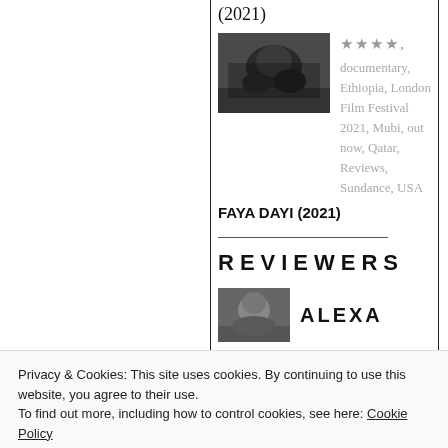(2021)
[Figure (photo): Black and white film still showing a person lying down, close-up face shot]
★★★★, documentary, Ethiopia, London Film Festival 2021, Mubi, out now, Qatar, Reviews, Sundance, USA
FAYA DAYI (2021)
REVIEWERS
[Figure (photo): Black and white headshot of a reviewer named Alexa]
ALEXA
Privacy & Cookies: This site uses cookies. By continuing to use this website, you agree to their use.
To find out more, including how to control cookies, see here: Cookie Policy
Close and accept